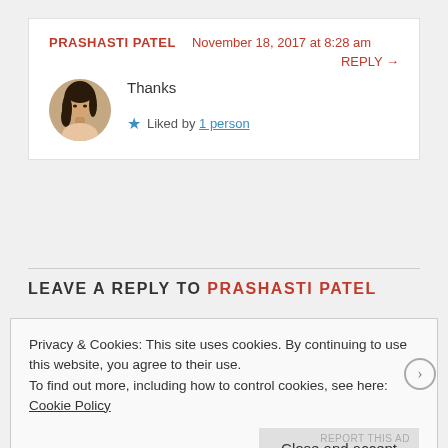PRASHASTI PATEL  November 18, 2017 at 8:28 am
REPLY →
Thanks
★ Liked by 1 person
LEAVE A REPLY TO PRASHASTI PATEL
Privacy & Cookies: This site uses cookies. By continuing to use this website, you agree to their use. To find out more, including how to control cookies, see here: Cookie Policy
Close and accept